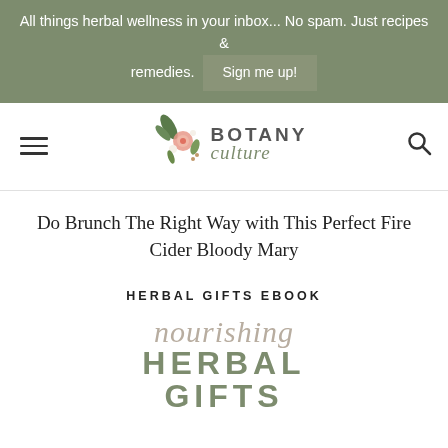All things herbal wellness in your inbox... No spam. Just recipes & remedies. Sign me up!
[Figure (logo): Botany Culture logo with botanical floral illustration, hamburger menu icon on left, search icon on right]
Do Brunch The Right Way with This Perfect Fire Cider Bloody Mary
HERBAL GIFTS EBOOK
[Figure (illustration): Nourishing Herbal Gifts ebook cover with script text 'nourishing' and bold text 'HERBAL GIFTS' in sage green]